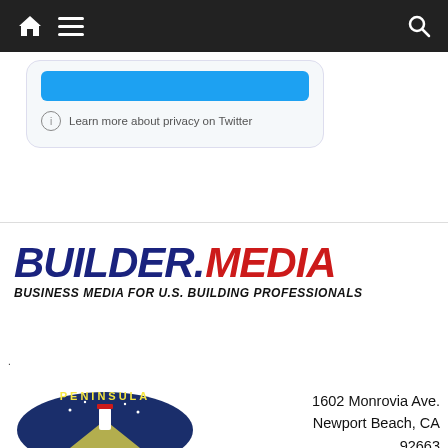[Figure (screenshot): Mobile navigation bar with home icon, hamburger menu, and search icon on dark background]
[Figure (screenshot): Twitter privacy widget with blue button and 'Learn more about privacy on Twitter' text]
[Figure (logo): Builder.Media logo with tagline 'BUSINESS MEDIA FOR U.S. BUILDING PROFESSIONALS']
[Figure (logo): Peninsula logo circular badge with lighthouse illustration]
1602 Monrovia Ave.
Newport Beach, CA
92663